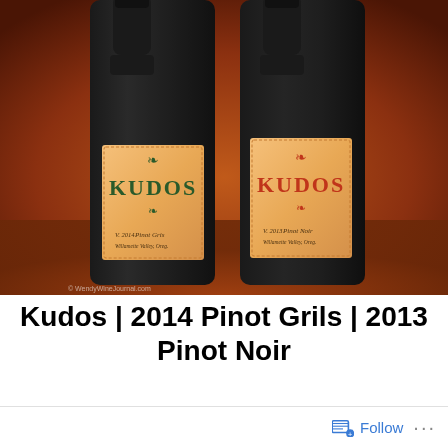[Figure (photo): Two dark wine bottles with orange/coral labels reading KUDOS. Left bottle label: V. 2014 Pinot Gris, Willamette Valley, Oregon. Right bottle label: V. 2013 Pinot Noir, Willamette Valley, Oregon. Warm reddish-brown background. Copyright mark: WendyWineJournal.com]
Kudos | 2014 Pinot Grils | 2013 Pinot Noir
Follow ...